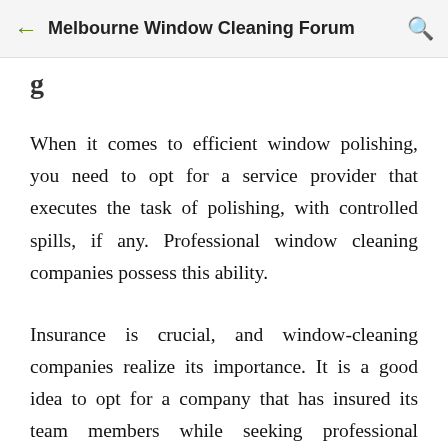Melbourne Window Cleaning Forum
g
When it comes to efficient window polishing, you need to opt for a service provider that executes the task of polishing, with controlled spills, if any. Professional window cleaning companies possess this ability.
Insurance is crucial, and window-cleaning companies realize its importance. It is a good idea to opt for a company that has insured its team members while seeking professional window cleaners in Melbourne. It is essential to pose